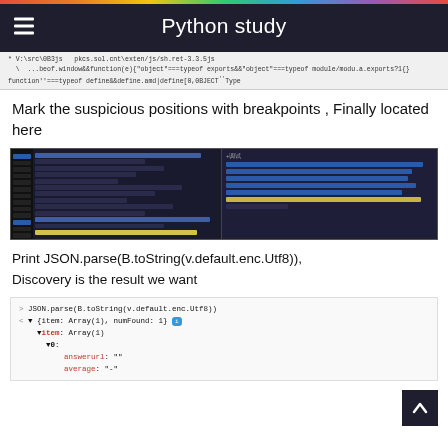Python study
* V:\src\0B3js  pkcs.sol.cnt\exten/js/sh.ret-3.3.5js
\ ...beof.window&&function(e){"object"===typeof exports&&"object"===typeof module/modu.a.exports?1(} function''===typeof define&&define.amd|define[0,0BJECT''Type
Mark the suspicious positions with breakpoints , Finally located here
[Figure (screenshot): Screenshot of a code editor/debugger showing JavaScript code with highlighted breakpoints on the left pane and a call stack/debug panel on the right pane with highlighted lines including a yellow highlighted line showing 'data: JSON.parse.toString(v.default.enc.Utf8)']
Print JSON.parse(B.toString(v.default.enc.Utf8)),
Discovery is the result we want
[Figure (screenshot): Browser console output showing: > JSON.parse(B.toString(v.default.enc.Utf8)) expanded object {item: Array(1), numFound: 1} with item: Array(1), *0: answerurl: '', average: '-']